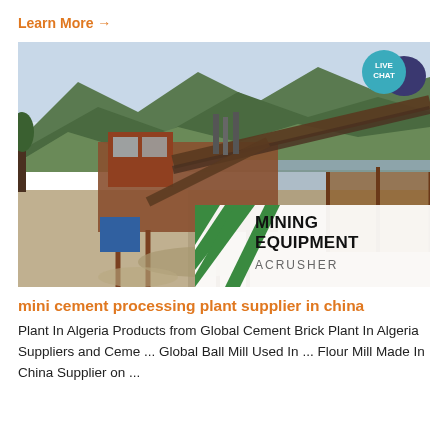Learn More →
[Figure (photo): Industrial mining/crushing equipment plant beside a river with mountains in the background. Conveyor belts, orange machinery structures visible. Overlay banner reads 'MINING EQUIPMENT ACRUSHER' with green diagonal stripes. Live Chat bubble in top right corner.]
mini cement processing plant supplier in china
Plant In Algeria Products from Global Cement Brick Plant In Algeria Suppliers and Ceme ... Global Ball Mill Used In ... Flour Mill Made In China Supplier on ...